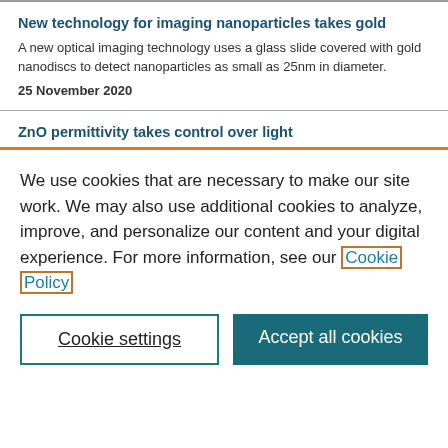New technology for imaging nanoparticles takes gold
A new optical imaging technology uses a glass slide covered with gold nanodiscs to detect nanoparticles as small as 25nm in diameter.
25 November 2020
ZnO permittivity takes control over light
We use cookies that are necessary to make our site work. We may also use additional cookies to analyze, improve, and personalize our content and your digital experience. For more information, see our Cookie Policy